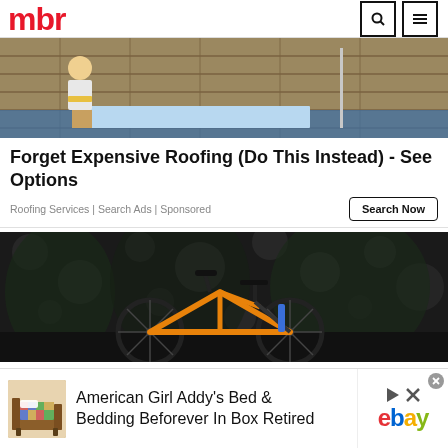mbr
[Figure (photo): Person standing on a flat roof deck with wooden planks and blue insulation sheets, working on roofing construction]
Forget Expensive Roofing (Do This Instead) - See Options
Roofing Services | Search Ads | Sponsored
Search Now
[Figure (photo): Yellow mountain bike against a dark forest/bokeh background]
American Girl Addy's Bed & Bedding Beforever In Box Retired